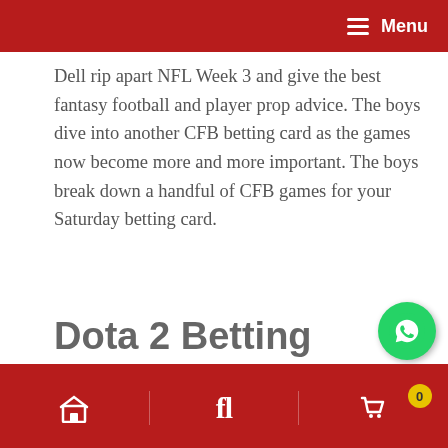Menu
Dell rip apart NFL Week 3 and give the best fantasy football and player prop advice. The boys dive into another CFB betting card as the games now become more and more important. The boys break down a handful of CFB games for your Saturday betting card.
Dota 2 Betting Thunder Predator Vs Infamous
Eleven players have been part of the last four Nashvil…
0